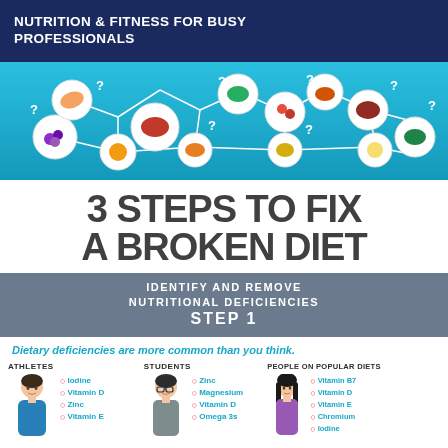NUTRITION & FITNESS FOR BUSY PROFESSIONALS
[Figure (infographic): Blue banner with white circles containing food illustrations (salmon, berries, eggs, bread, meat, leafy greens, berries, ginger, mushrooms, salmon fillet, greens) connected by lines, with question marks between them]
3 STEPS TO FIX A BROKEN DIET
IDENTIFY AND REMOVE NUTRITIONAL DEFICIENCIES STEP 1
Dietary deficiencies are more common than you think.
[Figure (infographic): Three person categories shown with avatar illustrations: ATHLETES (lists: Iodine, Vitamin D, Zinc, Vitamin E), STUDENTS (lists: Zinc, Magnesium, Vitamin D, Omega 3s), PEOPLE ON POPULAR DIETS (lists: Vitamin B7, Vitamin D, Vitamin E, Chromium, Iodine)]